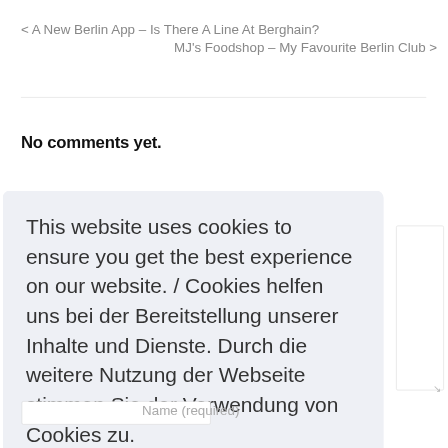< A New Berlin App – Is There A Line At Berghain?
MJ's Foodshop – My Favourite Berlin Club >
No comments yet.
Leave a Reply
This website uses cookies to ensure you get the best experience on our website. / Cookies helfen uns bei der Bereitstellung unserer Inhalte und Dienste. Durch die weitere Nutzung der Webseite stimmen Sie der Verwendung von Cookies zu.
Okay!
Name (required)